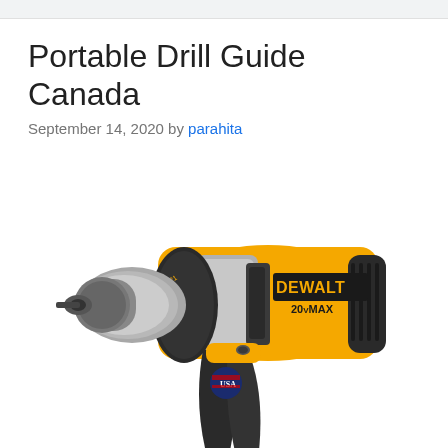Portable Drill Guide Canada
September 14, 2020 by parahita
[Figure (photo): A DeWalt 20V MAX cordless hammer drill/driver shown in profile view, with yellow and black body, keyless chuck, and USA badge on the handle.]